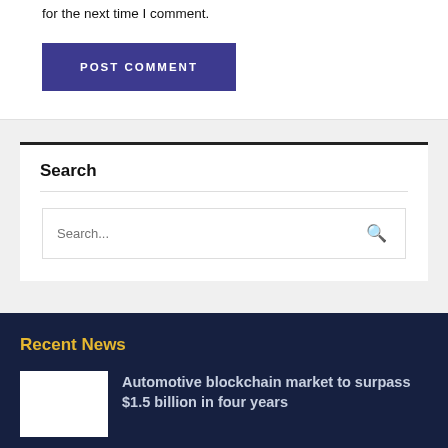for the next time I comment.
POST COMMENT
Search
Search...
Recent News
Automotive blockchain market to surpass $1.5 billion in four years